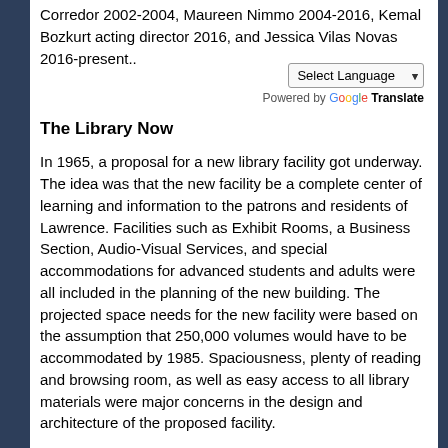Corredor 2002-2004, Maureen Nimmo 2004-2016, Kemal Bozkurt acting director 2016, and Jessica Vilas Novas 2016-present..
Powered by Google Translate
The Library Now
In 1965, a proposal for a new library facility got underway. The idea was that the new facility be a complete center of learning and information to the patrons and residents of Lawrence. Facilities such as Exhibit Rooms, a Business Section, Audio-Visual Services, and special accommodations for advanced students and adults were all included in the planning of the new building. The projected space needs for the new facility were based on the assumption that 250,000 volumes would have to be accommodated by 1985. Spaciousness, plenty of reading and browsing room, as well as easy access to all library materials were major concerns in the design and architecture of the proposed facility.
The new library was built on the northeast corner of Haverhill